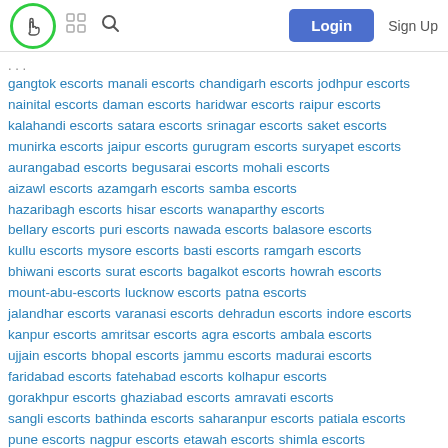Login | Sign Up
gangtok escorts manali escorts chandigarh escorts jodhpur escorts nainital escorts daman escorts haridwar escorts raipur escorts kalahandi escorts satara escorts srinagar escorts saket escorts munirka escorts jaipur escorts gurugram escorts suryapet escorts aurangabad escorts begusarai escorts mohali escorts aizawl escorts azamgarh escorts samba escorts hazaribagh escorts hisar escorts wanaparthy escorts bellary escorts puri escorts nawada escorts balasore escorts kullu escorts mysore escorts basti escorts ramgarh escorts bhiwani escorts surat escorts bagalkot escorts howrah escorts mount-abu-escorts lucknow escorts patna escorts jalandhar escorts varanasi escorts dehradun escorts indore escorts kanpur escorts amritsar escorts agra escorts ambala escorts ujjain escorts bhopal escorts jammu escorts madurai escorts faridabad escorts fatehabad escorts kolhapur escorts gorakhpur escorts ghaziabad escorts amravati escorts sangli escorts bathinda escorts saharanpur escorts patiala escorts pune escorts nagpur escorts etawah escorts shimla escorts moradabad escorts rewari escorts coimbatore escorts sultanpur escorts akola escorts nashik escorts ludhiana escorts